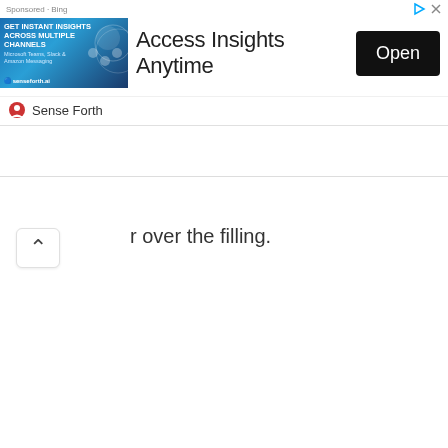[Figure (screenshot): Advertisement banner: image on left showing 'GET INSTANT INSIGHTS ACROSS MULTIPLE CHANNELS' on blue background with decorative circles, center text 'Access Insights Anytime', black 'Open' button on right. Below: Sense Forth source label.]
r over the filling.